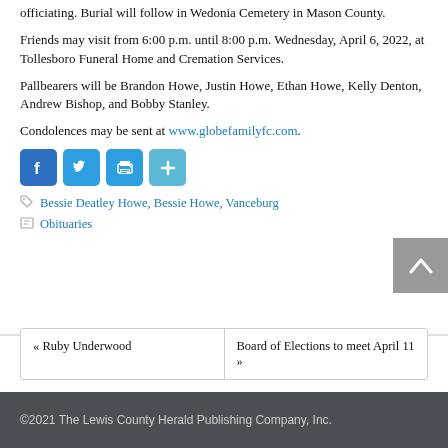officiating. Burial will follow in Wedonia Cemetery in Mason County.
Friends may visit from 6:00 p.m. until 8:00 p.m. Wednesday, April 6, 2022, at Tollesboro Funeral Home and Cremation Services.
Pallbearers will be Brandon Howe, Justin Howe, Ethan Howe, Kelly Denton, Andrew Bishop, and Bobby Stanley.
Condolences may be sent at www.globefamilyfc.com.
[Figure (other): Social media sharing icons: Facebook, Twitter, Print, Share Plus]
Bessie Deatley Howe, Bessie Howe, Vanceburg Obituaries
« Ruby Underwood   Board of Elections to meet April 11 »
©2021 The Lewis County Herald Publishing Company, Inc.